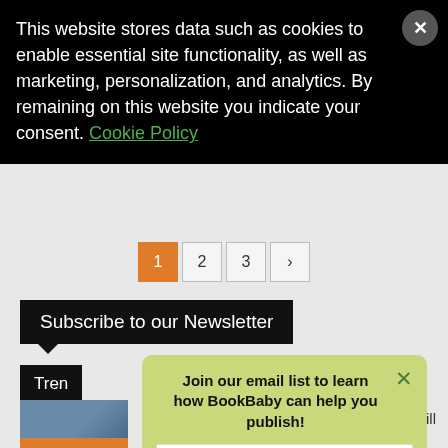This website stores data such as cookies to enable essential site functionality, as well as marketing, personalization, and analytics. By remaining on this website you indicate your consent. Cookie Policy
[Figure (screenshot): Pagination bar showing page buttons: 1 (active/orange), 2, 3, and a next arrow]
Subscribe to our Newsletter
Tren
[Figure (photo): Small thumbnail image placeholder in blue-grey tones]
[Figure (screenshot): Email signup modal with light green background, title 'Join our email list to learn how BookBaby can help you publish!', email input field, and Sign Me Up button]